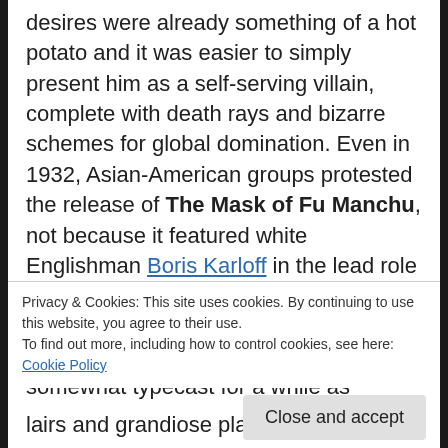desires were already something of a hot potato and it was easier to simply present him as a self-serving villain, complete with death rays and bizarre schemes for global domination. Even in 1932, Asian-American groups protested the release of The Mask of Fu Manchu, not because it featured white Englishman Boris Karloff in the lead role (this film, in fact, extended the 'yellowface' to the supporting cast as well, including Myrna Loy – who was somewhat typecast for a while as 'exotic' foreigners – playing Fu Manchu's daughter), but because the film and the
Privacy & Cookies: This site uses cookies. By continuing to use this website, you agree to their use.
To find out more, including how to control cookies, see here: Cookie Policy
lairs and grandiose plans.